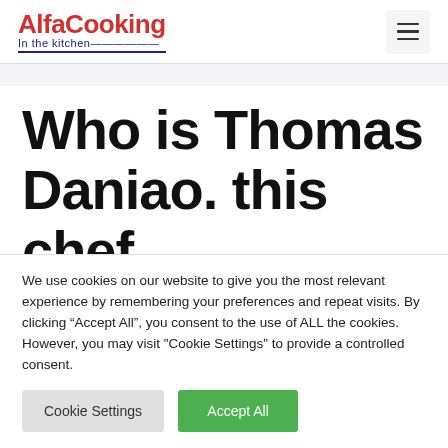AlfaCooking In the kitchen
Who is Thomas Daniao. this chef
We use cookies on our website to give you the most relevant experience by remembering your preferences and repeat visits. By clicking “Accept All”, you consent to the use of ALL the cookies. However, you may visit "Cookie Settings" to provide a controlled consent.